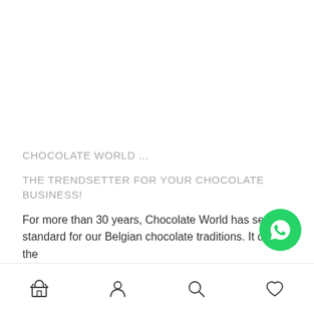CHOCOLATE WORLD ...
THE TRENDSETTER FOR YOUR CHOCOLATE BUSINESS!
For more than 30 years, Chocolate World has set the standard for our Belgian chocolate traditions. It offers the
[Figure (illustration): WhatsApp floating button (green circle with white speech bubble/phone icon)]
[Figure (infographic): Bottom navigation bar with four icons: shop/store icon, person/account icon, search icon, heart/wishlist icon]